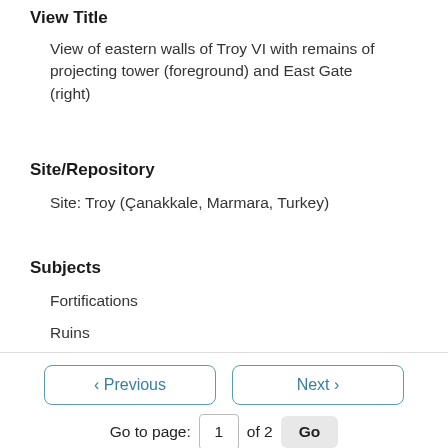View Title
View of eastern walls of Troy VI with remains of projecting tower (foreground) and East Gate (right)
Site/Repository
Site: Troy (Çanakkale, Marmara, Turkey)
Subjects
Fortifications
Ruins
< Previous   Next >
Go to page: 1 of 2 Go